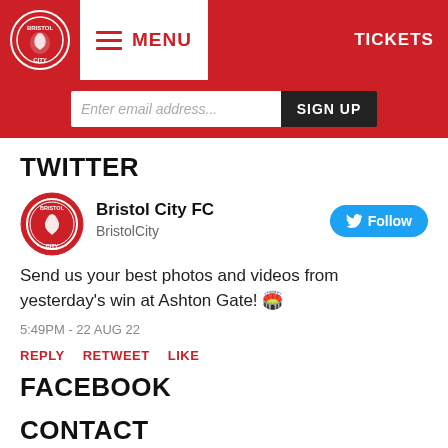[Figure (screenshot): Bristol City FC website header navigation bar with logo, hamburger menu, MENU text, and TICKETS button]
[Figure (screenshot): Email signup bar with 'Enter email address...' input and 'SIGN UP' button on red background]
TWITTER
[Figure (logo): Bristol City FC circular logo - red badge with robin bird]
Bristol City FC
BristolCity
Follow button (Twitter blue)
Send us your best photos and videos from yesterday's win at Ashton Gate! 🏟️
5:49PM - 22 AUG 22
REPLY   RETWEET   LIKE
FACEBOOK
[Figure (logo): Bristol City FC circular logo - red badge with robin bird]
Bristol City
CONTACT